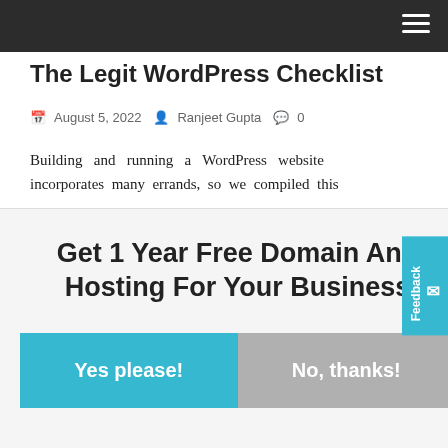The Legit WordPress Checklist
August 5, 2022  Ranjeet Gupta  0
Building and running a WordPress website incorporates many errands, so we compiled this
[Figure (infographic): Popup modal offering '1 Year Free Domain And Hosting For Your Business' with a cyan 'Yes please!' button and a grey 'No, thanks!' button]
Feedback
+ AddThis